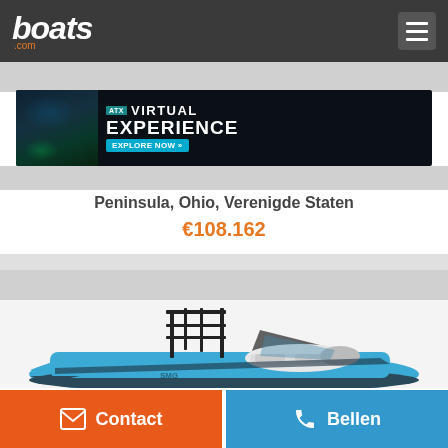boats.com
[Figure (screenshot): ATX Virtual Experience advertisement banner with dark background, teal and blue lighting effects, and 'EXPLORE NOW >>' button]
Peninsula, Ohio, Verenigde Staten
€108.162
[Figure (photo): Blue wake sport boat with black tower structure and white interior seating]
Contact
Bellen